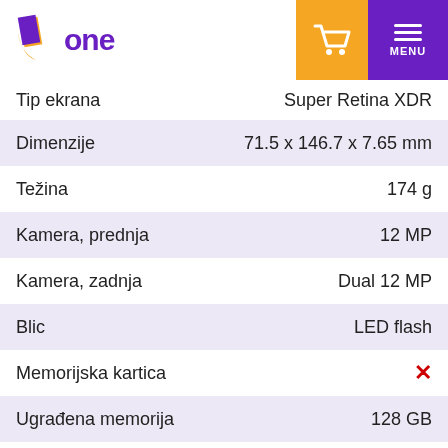1one
| Specifikacija | Vrijednost |
| --- | --- |
| Tip ekrana | Super Retina XDR |
| Dimenzije | 71.5 x 146.7 x 7.65 mm |
| Težina | 174 g |
| Kamera, prednja | 12 MP |
| Kamera, zadnja | Dual 12 MP |
| Blic | LED flash |
| Memorijska kartica | ✗ |
| Ugrađena memorija | 128 GB |
| SIM kartica | Nano SIM |
| Dual SIM | ✗ |